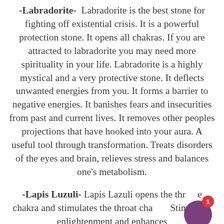-Labradorite- Labradorite is the best stone for fighting off existential crisis. It is a powerful protection stone. It opens all chakras. If you are attracted to labradorite you may need more spirituality in your life. Labradorite is a highly mystical and a very protective stone. It deflects unwanted energies from you. It forms a barrier to negative energies. It banishes fears and insecurities from past and current lives. It removes other peoples projections that have hooked into your aura. A useful tool through transformation. Treats disorders of the eyes and brain, relieves stress and balances one's metabolism.
-Lapis Luzuli- Lapis Lazuli opens the throat chakra and stimulates the throat chakra. Stimulates enlightenment and enhances dream work and psychic abilities. This stone...